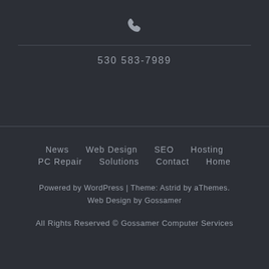[Figure (illustration): Phone/telephone handset icon in light gray]
530 583-7989
News
Web Design
SEO
Hosting
PC Repair
Solutions
Contact
Home
Powered by WordPress | Theme: Astrid by aThemes. Web Design by Gossamer
All Rights Reserved © Gossamer Computer Services